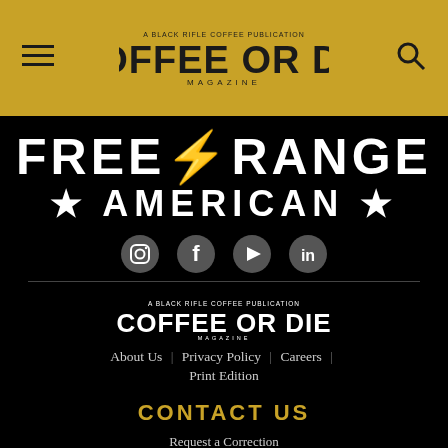Coffee or Die Magazine – header navigation
[Figure (logo): Free Range American logo text in white on black background]
[Figure (infographic): Social media icons row: Instagram, Facebook, YouTube, LinkedIn]
[Figure (logo): Coffee or Die Magazine logo in white on black background]
About Us | Privacy Policy | Careers | Print Edition
CONTACT US
Request a Correction
Write for Us